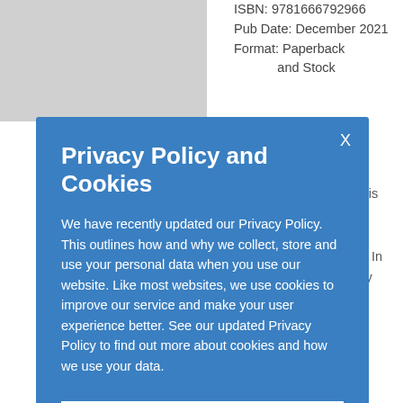ISBN: 9781666792966
Pub Date: December 2021
Format: Paperback
and Stock
f the
atin
neology is
the
C. Rene
2-2021). In
d Legacy
adilla,"
aniel
ents the
Privacy Policy and Cookies
We have recently updated our Privacy Policy. This outlines how and why we collect, store and use your personal data when you use our website. Like most websites, we use cookies to improve our service and make your user experience better. See our updated Privacy Policy to find out more about cookies and how we use your data.
OKAY, THANKS